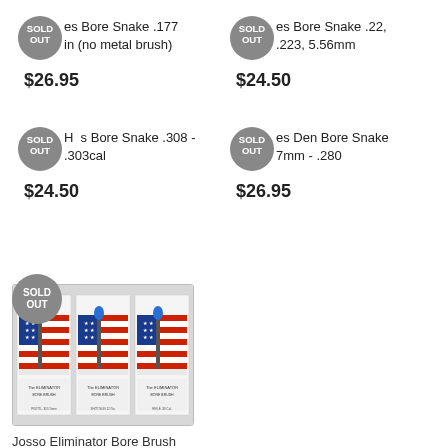SOLD OUT — Bore Snake .177 (no metal brush) — $26.95
SOLD OUT — Bore Snake .22, .223, 5.56mm — $24.50
SOLD OUT — Bore Snake .308 - .303cal — $24.50
SOLD OUT — Den Bore Snake 7mm - .280 — $26.95
[Figure (photo): Three packaged Josso Eliminator Bore Brush products with American flag imagery on the packaging]
Josso Eliminator Bore Brush